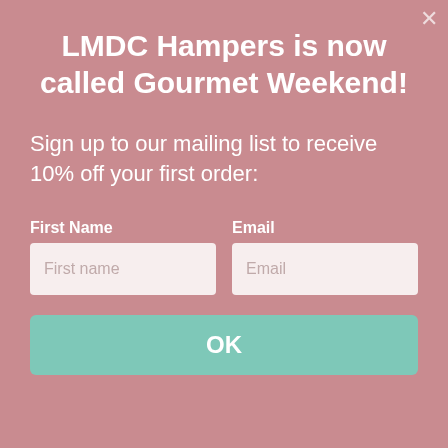LMDC Hampers is now called Gourmet Weekend!
Sign up to our mailing list to receive 10% off your first order:
First Name
Email
OK